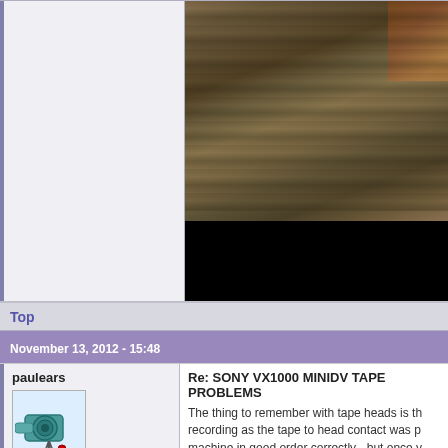[Figure (photo): Partial view of a VHS/MiniDV tape showing wrinkled tape surface with brown/gray tones, with a black bar at the bottom of the image panel.]
Top
November 13, 2012 - 15:48
paulears
[Figure (illustration): Avatar icon showing a camera or video equipment illustration in teal/blue tones.]
Offline
Re: SONY VX1000 MINIDV TAPE PROBLEMS
The thing to remember with tape heads is th... recording as the tape to head contact was p... machine in good order correctly - but once y... the problem appears. Not sure where the me...